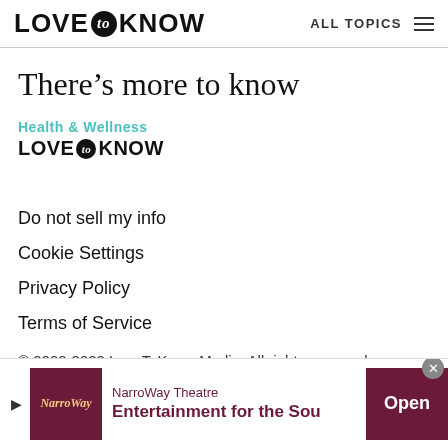LOVE to KNOW | ALL TOPICS
There’s more to know
[Figure (logo): Health & Wellness LoveToKnow sub-brand logo with teal category text and black logo]
Do not sell my info
Cookie Settings
Privacy Policy
Terms of Service
© 2002-2022 LoveToKnow Media. All rights reserved.
[Figure (infographic): NarroWay Theatre advertisement banner: Entertainment for the Sou... with Open button]